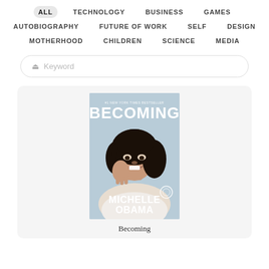ALL | TECHNOLOGY | BUSINESS | GAMES | AUTOBIOGRAPHY | FUTURE OF WORK | SELF | DESIGN | MOTHERHOOD | CHILDREN | SCIENCE | MEDIA
Keyword (search placeholder)
[Figure (illustration): Book cover of 'Becoming' by Michelle Obama — #1 New York Times Bestseller. Features a photo of Michelle Obama smiling with her hand near her face, against a light blue background. The word BECOMING appears at the top in large white letters, and MICHELLE OBAMA appears at the bottom in large white letters.]
Becoming